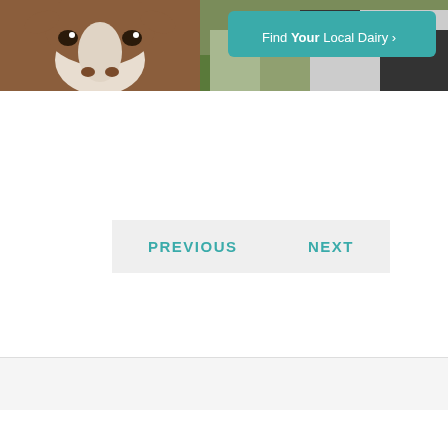[Figure (photo): Dairy cows in a field, close-up of brown and white cow face, with a teal button overlay reading 'Find Your Local Dairy >']
Find Your Local Dairy >
PREVIOUS
NEXT
[Figure (other): Social sharing bar with Facebook (blue), Twitter (light blue), Email (gray), and More/Plus (orange-red) buttons with their respective icons]